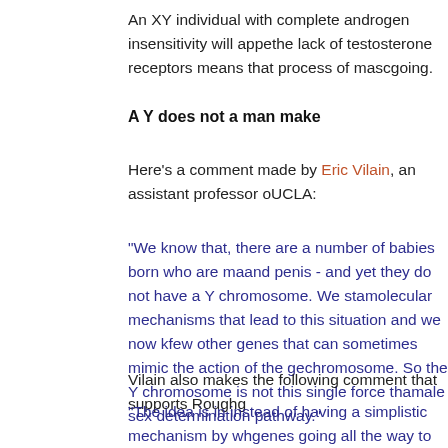An XY individual with complete androgen insensitivity will appe... the lack of testosterone receptors means that process of masc... going.
A Y does not a man make
Here's a comment made by Eric Vilain, an assistant professor o... UCLA:
"We know that, there are a number of babies born who are ma... and penis - and yet they do not have a Y chromosome. We sta... molecular mechanisms that lead to this situation and we now k... few other genes that can sometimes mimic the action of the ge... chromosome. So the Y chromosome is not this single force tha... male sex determination pathway."
Vilain also makes the following comment that supports Roughg...
"The idea is in instead of having a simplistic mechanism by wh... genes going all the way to make a male, in fact there is a solid... male genes and anti-male genes and if there is a little too mucl... there may be a female born and if there is a little too much of p...